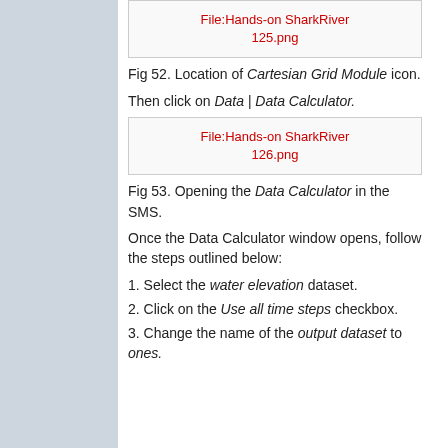[Figure (screenshot): Placeholder for file: Hands-on SharkRiver 125.png]
Fig 52. Location of Cartesian Grid Module icon.
Then click on Data | Data Calculator.
[Figure (screenshot): Placeholder for file: Hands-on SharkRiver 126.png]
Fig 53. Opening the Data Calculator in the SMS.
Once the Data Calculator window opens, follow the steps outlined below:
1. Select the water elevation dataset.
2. Click on the Use all time steps checkbox.
3. Change the name of the output dataset to ones.